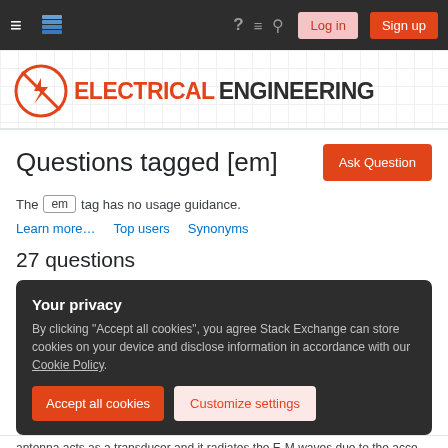Navigation bar with menu, Stack Exchange logo, help, chat, search, Log in, Sign up
[Figure (logo): Electrical Engineering Stack Exchange logo with circuit symbol and ELECTRICAL ENGINEERING text]
Questions tagged [em]
The em tag has no usage guidance.
Learn more… Top users Synonyms
27 questions
Your privacy
By clicking "Accept all cookies", you agree Stack Exchange can store cookies on your device and disclose information in accordance with our Cookie Policy.
Accept all cookies   Customize settings
antenna acts as a transducer and it radiates the E-M waves due to the acceleration…